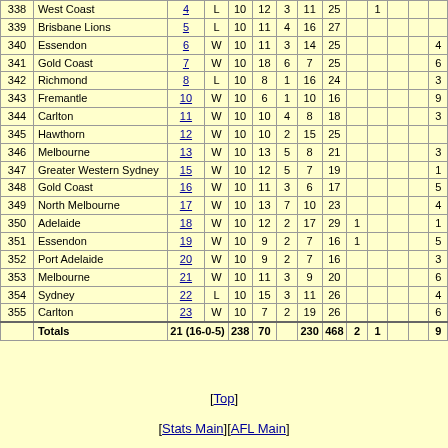| # | Team | Rnd | W/L | K | H | M | G | B | HO | T |  |  |  |
| --- | --- | --- | --- | --- | --- | --- | --- | --- | --- | --- | --- | --- | --- |
| 338 | West Coast | 4 | L | 10 | 12 | 3 | 11 | 25 |  | 1 |  |  |
| 339 | Brisbane Lions | 5 | L | 10 | 11 | 4 | 16 | 27 |  |  |  |  |
| 340 | Essendon | 6 | W | 10 | 11 | 3 | 14 | 25 |  |  |  | 4 |
| 341 | Gold Coast | 7 | W | 10 | 18 | 6 | 7 | 25 |  |  |  | 6 |
| 342 | Richmond | 8 | L | 10 | 8 | 1 | 16 | 24 |  |  |  | 3 |
| 343 | Fremantle | 10 | W | 10 | 6 | 1 | 10 | 16 |  |  |  | 9 |
| 344 | Carlton | 11 | W | 10 | 10 | 4 | 8 | 18 |  |  |  | 3 |
| 345 | Hawthorn | 12 | W | 10 | 10 | 2 | 15 | 25 |  |  |  |  |
| 346 | Melbourne | 13 | W | 10 | 13 | 5 | 8 | 21 |  |  |  | 3 |
| 347 | Greater Western Sydney | 15 | W | 10 | 12 | 5 | 7 | 19 |  |  |  | 1 |
| 348 | Gold Coast | 16 | W | 10 | 11 | 3 | 6 | 17 |  |  |  | 5 |
| 349 | North Melbourne | 17 | W | 10 | 13 | 7 | 10 | 23 |  |  |  | 4 |
| 350 | Adelaide | 18 | W | 10 | 12 | 2 | 17 | 29 | 1 |  |  | 1 |
| 351 | Essendon | 19 | W | 10 | 9 | 2 | 7 | 16 | 1 |  |  | 5 |
| 352 | Port Adelaide | 20 | W | 10 | 9 | 2 | 7 | 16 |  |  |  | 3 |
| 353 | Melbourne | 21 | W | 10 | 11 | 3 | 9 | 20 |  |  |  | 6 |
| 354 | Sydney | 22 | L | 10 | 15 | 3 | 11 | 26 |  |  |  | 4 |
| 355 | Carlton | 23 | W | 10 | 7 | 2 | 19 | 26 |  |  |  | 6 |
| Totals |  | 21 (16-0-5) |  | 238 | 70 |  | 230 | 468 | 2 | 1 |  | 9 |
[Top]
[Stats Main][AFL Main]